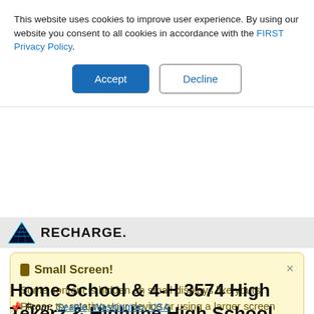This website uses cookies to improve user experience. By using our website you consent to all cookies in accordance with the FIRST Privacy Policy.
Accept | Decline
[Figure (screenshot): FIRST RECHARGE logo banner in gray header bar]
Small Screen! Some content is hidden on small displays like yours. Please try rotating your device or using a larger screen to see more content.
Home School & 4-H 3574 High Tekerz & Highline High School
From: Seattle, Washington, USA
District: Pacific Northwest